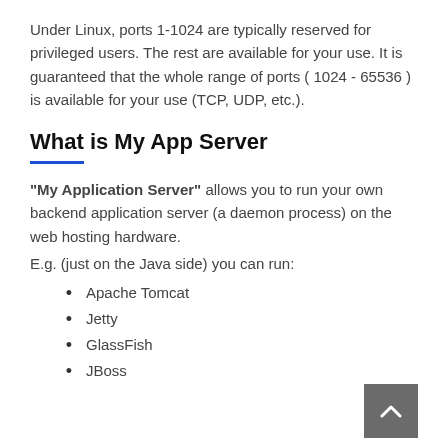Under Linux, ports 1-1024 are typically reserved for privileged users. The rest are available for your use. It is guaranteed that the whole range of ports ( 1024 - 65536 ) is available for your use (TCP, UDP, etc.).
What is My App Server
"My Application Server" allows you to run your own backend application server (a daemon process) on the web hosting hardware.
E.g. (just on the Java side) you can run:
Apache Tomcat
Jetty
GlassFish
JBoss